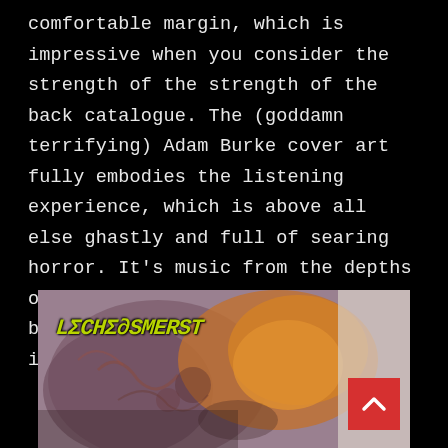comfortable margin, which is impressive when you consider the strength of the strength of the back catalogue. The (goddamn terrifying) Adam Burke cover art fully embodies the listening experience, which is above all else ghastly and full of searing horror. It's music from the depths of hell filtered through the broken human mind, visceral and incandescent and mutilating.
[Figure (illustration): Album cover art for a death metal band, showing grotesque horror imagery. The band logo appears in yellow-green jagged lettering in the upper left. The artwork depicts visceral, flesh-like horror imagery in dark reds, browns, and oranges against a light grey/white background. A red scroll-to-top button appears in the lower right corner.]